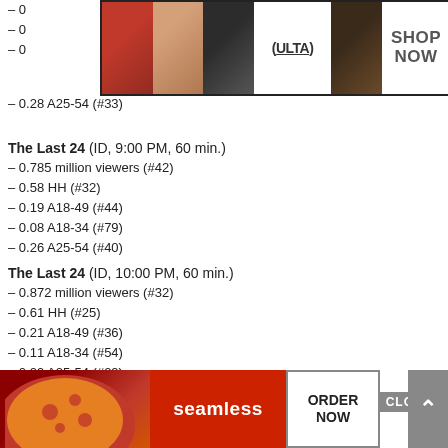[Figure (photo): Ulta Beauty advertisement banner with makeup images (red lips, makeup brush, eyes with eyeliner) and Ulta Beauty logo, with 'SHOP NOW' text]
– 0.28 A25-54 (#33)
The Last 24 (ID, 9:00 PM, 60 min.)
– 0.785 million viewers (#42)
– 0.58 HH (#32)
– 0.19 A18-49 (#44)
– 0.08 A18-34 (#79)
– 0.26 A25-54 (#40)
The Last 24 (ID, 10:00 PM, 60 min.)
– 0.872 million viewers (#32)
– 0.61 HH (#25)
– 0.21 A18-49 (#36)
– 0.11 A18-34 (#54)
– 0.29 A25-54 (#29)
All In with Chris Hayes (MSNBC, 8:00 PM, 60 min.)
– 1.716 million viewers (#7)
– 1.22 HH (#6)
– 0.19 A18-49 (#44)
– 0
– 0
[Figure (photo): Seamless food delivery advertisement with pizza image, Seamless logo, and 'ORDER NOW' button]